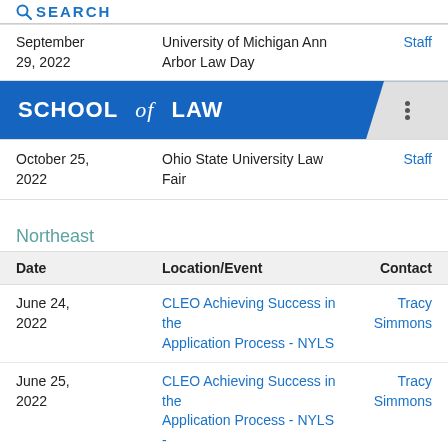SEARCH
| Date | Location/Event | Contact |
| --- | --- | --- |
| September 29, 2022 | University of Michigan Ann Arbor Law Day | Staff |
SCHOOL of LAW
| Date | Location/Event | Contact |
| --- | --- | --- |
| October 25, 2022 | Ohio State University Law Fair | Staff |
Northeast
| Date | Location/Event | Contact |
| --- | --- | --- |
| June 24, 2022 | CLEO Achieving Success in the Application Process - NYLS | Tracy Simmons |
| June 25, 2022 | CLEO Achieving Success in the Application Process - NYLS - | Tracy Simmons |